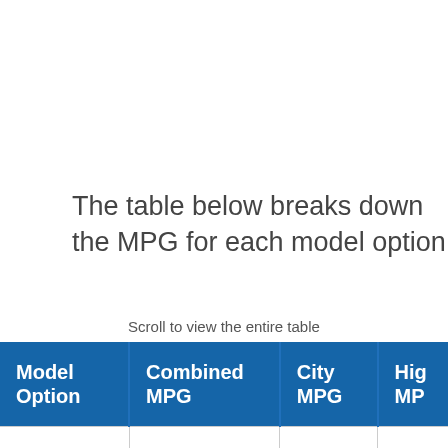The table below breaks down the MPG for each model option:
Scroll to view the entire table
| Model Option | Combined MPG | City MPG | Hig MP |
| --- | --- | --- | --- |
| Manual 6-
spd 6-cyl, 3.2 L | 21 | 18 | 26 |